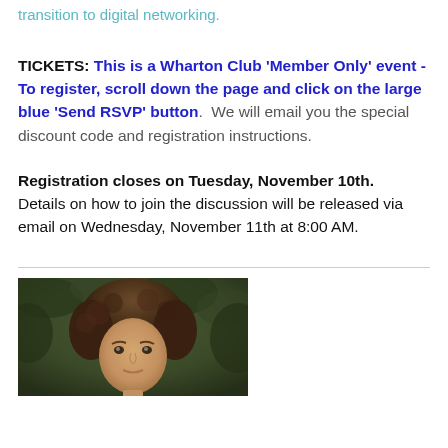transition to digital networking.
TICKETS: This is a Wharton Club 'Member Only' event - To register, scroll down the page and click on the large blue 'Send RSVP' button. We will email you the special discount code and registration instructions.
Registration closes on Tuesday, November 10th. Details on how to join the discussion will be released via email on Wednesday, November 11th at 8:00 AM.
[Figure (photo): Portrait photo of a woman with curly brown hair against a dark green leafy background]